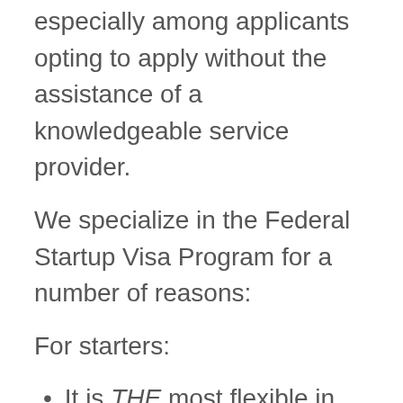leading to lower success rates especially among applicants opting to apply without the assistance of a knowledgeable service provider.
We specialize in the Federal Startup Visa Program for a number of reasons:
For starters:
It is THE most flexible in terms of where you can live (i.e. you can